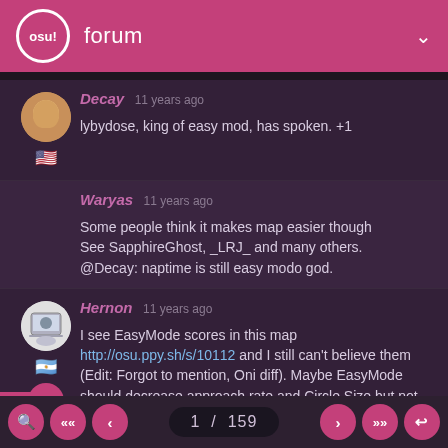osu! forum
Decay 11 years ago
lybydose, king of easy mod, has spoken. +1
Waryas 11 years ago
Some people think it makes map easier though
See SapphireGhost, _LRJ_ and many others.
@Decay: naptime is still easy modo god.
Hernon 11 years ago
I see EasyMode scores in this map http://osu.ppy.sh/s/10112 and I still can't believe them (Edit: Forgot to mention, Oni diff). Maybe EasyMode should decrease approach rate and Circle Size but not that much.
1 / 159